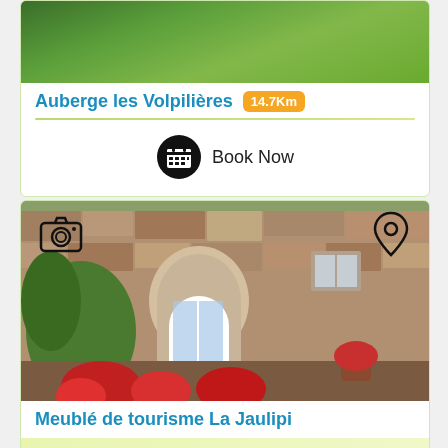[Figure (photo): Top portion of a property listing card showing green lawn/garden aerial view (partially cut off at top)]
Auberge les Volpilières 14.7Km
[Figure (other): Calendar icon with Book Now text button]
[Figure (photo): Stone building with arched doorway, red roses in foreground - Meublé de tourisme La Jaulipi property photo]
Meublé de tourisme La Jaulipi
From €1950 / week